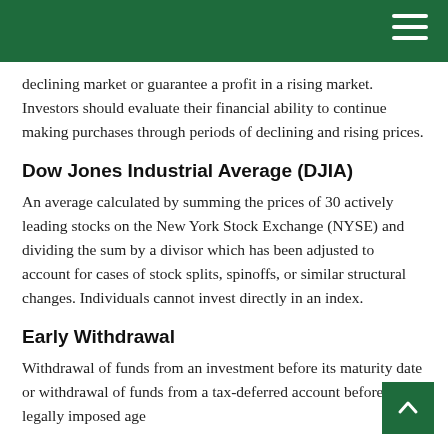declining market or guarantee a profit in a rising market. Investors should evaluate their financial ability to continue making purchases through periods of declining and rising prices.
Dow Jones Industrial Average (DJIA)
An average calculated by summing the prices of 30 actively leading stocks on the New York Stock Exchange (NYSE) and dividing the sum by a divisor which has been adjusted to account for cases of stock splits, spinoffs, or similar structural changes. Individuals cannot invest directly in an index.
Early Withdrawal
Withdrawal of funds from an investment before its maturity date or withdrawal of funds from a tax-deferred account before the legally imposed age